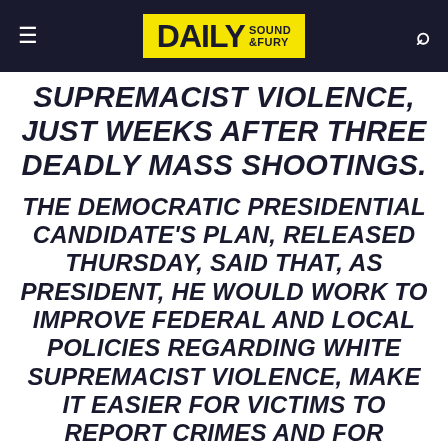DAILY SOUND & FURY
SUPREMACIST VIOLENCE, JUST WEEKS AFTER THREE DEADLY MASS SHOOTINGS.
THE DEMOCRATIC PRESIDENTIAL CANDIDATE'S PLAN, RELEASED THURSDAY, SAID THAT, AS PRESIDENT, HE WOULD WORK TO IMPROVE FEDERAL AND LOCAL POLICIES REGARDING WHITE SUPREMACIST VIOLENCE, MAKE IT EASIER FOR VICTIMS TO REPORT CRIMES AND FOR COMMUNITIES TO ACCESS RESOURCES, AND ADDRESS ONLINE